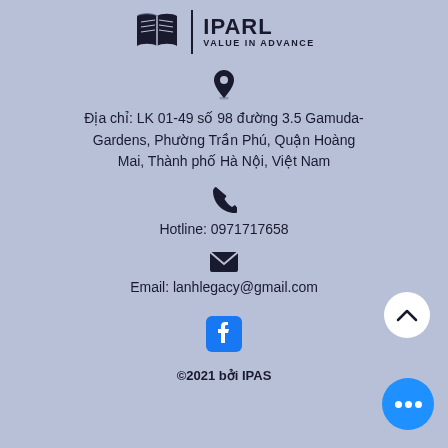[Figure (logo): IPARL logo with open book icon and text 'IPARL VALUE IN ADVANCE']
Địa chỉ: LK 01-49 số 98 đường 3.5 Gamuda-Gardens, Phường Trần Phú, Quận Hoàng Mai, Thành phố Hà Nội, Việt Nam
Hotline: 0971717658
Email: lanhlegacy@gmail.com
©2021 bởi IPAS